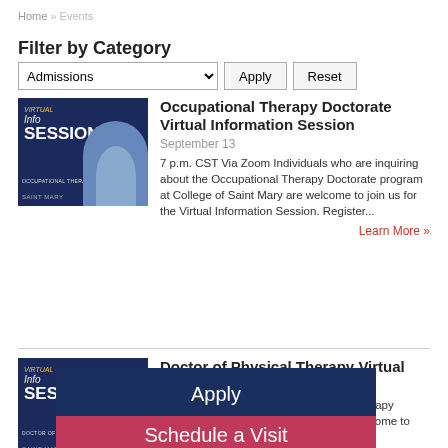Home » Events
Filter by Category
Admissions [dropdown] Apply Reset
[Figure (photo): Virtual Info Session banner for Occupational Therapy Doctorate with person photo]
Occupational Therapy Doctorate Virtual Information Session
September 13
7 p.m. CST Via Zoom Individuals who are inquiring about the Occupational Therapy Doctorate program at College of Saint Mary are welcome to join us for the Virtual Information Session. Register...
Learn More »
[Figure (photo): Virtual Info Session banner for Doctor of Physical Therapy with person photo]
Doctor of Physical Therapy Virtual Information Session
als who are ysical Therapy program at College of Saint Mary are welcome ation Session.
Learn More »
Apply
Schedule a Visit